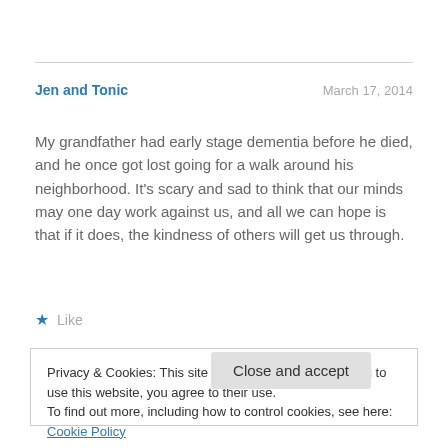Jen and Tonic | March 17, 2014
My grandfather had early stage dementia before he died, and he once got lost going for a walk around his neighborhood. It's scary and sad to think that our minds may one day work against us, and all we can hope is that if it does, the kindness of others will get us through.
★ Like
Privacy & Cookies: This site uses cookies. By continuing to use this website, you agree to their use.
To find out more, including how to control cookies, see here: Cookie Policy